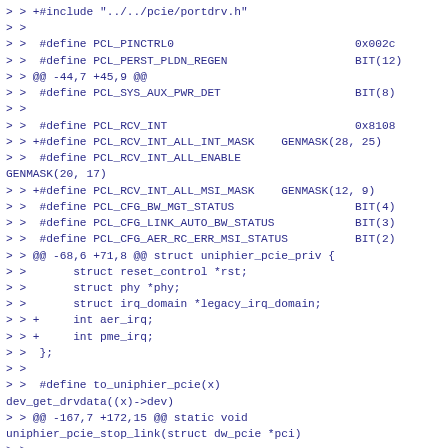> > +#include "../../pcie/portdrv.h"
> >
> >  #define PCL_PINCTRL0                           0x002c
> >  #define PCL_PERST_PLDN_REGEN                   BIT(12)
> > @@ -44,7 +45,9 @@
> >  #define PCL_SYS_AUX_PWR_DET                    BIT(8)
> >
> >  #define PCL_RCV_INT                            0x8108
> > +#define PCL_RCV_INT_ALL_INT_MASK    GENMASK(28, 25)
> >  #define PCL_RCV_INT_ALL_ENABLE
GENMASK(20, 17)
> > +#define PCL_RCV_INT_ALL_MSI_MASK    GENMASK(12, 9)
> >  #define PCL_CFG_BW_MGT_STATUS                  BIT(4)
> >  #define PCL_CFG_LINK_AUTO_BW_STATUS            BIT(3)
> >  #define PCL_CFG_AER_RC_ERR_MSI_STATUS          BIT(2)
> > @@ -68,6 +71,8 @@ struct uniphier_pcie_priv {
> >       struct reset_control *rst;
> >       struct phy *phy;
> >       struct irq_domain *legacy_irq_domain;
> > +     int aer_irq;
> > +     int pme_irq;
> >  };
> >
> >  #define to_uniphier_pcie(x)
dev_get_drvdata((x)->dev)
> > @@ -167,7 +172,15 @@ static void
uniphier_pcie_stop_link(struct dw_pcie *pci)
> >
> >  static void uniphier_pcie_irq_enable(struct
uniphier_pcie_priv *priv)